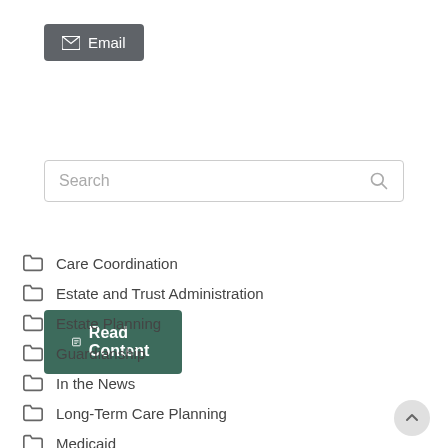[Figure (other): Email button with envelope icon, dark gray background]
[Figure (other): Search input box with magnifying glass icon]
[Figure (other): Read Content button with dark green background]
Care Coordination
Estate and Trust Administration
Estate Planning
Guardianship
In the News
Long-Term Care Planning
Medicaid
Medicare